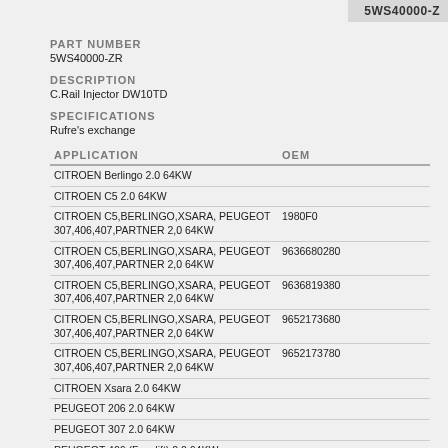5WS40000-Z
PART NUMBER
5WS40000-ZR
DESCRIPTION
C.Rail Injector DW10TD
SPECIFICATIONS
Rufre's exchange
| APPLICATION | OEM |
| --- | --- |
| CITROEN Berlingo 2.0 64KW |  |
| CITROEN C5 2.0 64KW |  |
| CITROEN C5,BERLINGO,XSARA, PEUGEOT 307,406,407,PARTNER 2,0 64KW | 1980F0 |
| CITROEN C5,BERLINGO,XSARA, PEUGEOT 307,406,407,PARTNER 2,0 64KW | 9636680280 |
| CITROEN C5,BERLINGO,XSARA, PEUGEOT 307,406,407,PARTNER 2,0 64KW | 9636819380 |
| CITROEN C5,BERLINGO,XSARA, PEUGEOT 307,406,407,PARTNER 2,0 64KW | 9652173680 |
| CITROEN C5,BERLINGO,XSARA, PEUGEOT 307,406,407,PARTNER 2,0 64KW | 9652173780 |
| CITROEN Xsara 2.0 64KW |  |
| PEUGEOT 206 2.0 64KW |  |
| PEUGEOT 307 2.0 64KW |  |
| PEUGEOT 406 (Facelift) 2.0 64KW |  |
| PEUGEOT 407 2.0 64KW |  |
| PEUGEOT Partner 2.0 64KW |  |
| PSA | 1980F0 |
| PSA | 9636680280 |